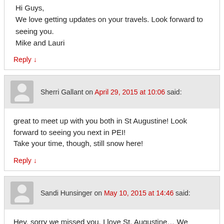Hi Guys,
We love getting updates on your travels. Look forward to seeing you.
Mike and Lauri
Reply ↓
Sherri Gallant on April 29, 2015 at 10:06 said:
great to meet up with you both in St Augustine! Look forward to seeing you next in PEI!
Take your time, though, still snow here!
Reply ↓
Sandi Hunsinger on May 10, 2015 at 14:46 said:
Hey, sorry we missed you. I love St. Augustine… We camped on the ocen there. That was a treat from Bill when we were coming to Florida last fall. So much to catch up on friends. Love you and miss you.
Reply ↓